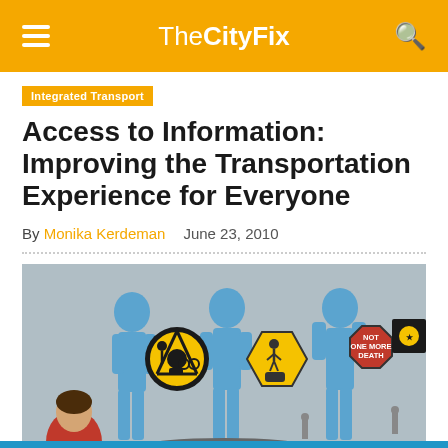TheCityFix
Integrated Transport
Access to Information: Improving the Transportation Experience for Everyone
By Monika Kerdeman   June 23, 2010
[Figure (photo): A mural on a concrete wall featuring blue silhouette figures of people holding transportation-related signs including a circular pedestrian/bicycle/vehicle symbol, a yellow warning sign with pedestrians and vehicles, a red octagonal sign reading 'NOT ONE MORE DEATH', and a black sign. A child is visible in the foreground lower left.]